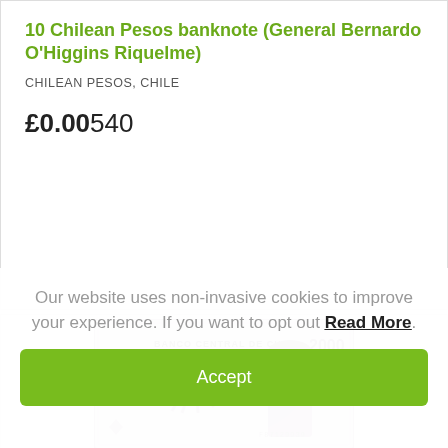10 Chilean Pesos banknote (General Bernardo O'Higgins Riquelme)
CHILEAN PESOS, CHILE
£0.00540
[Figure (photo): Photo of a Chilean 2000 Pesos banknote (Banco Central de Chile) featuring General Bernardo O'Higgins Riquelme portrait and a horseman scene, serial number F87129939]
Our website uses non-invasive cookies to improve your experience. If you want to opt out Read More.
Accept